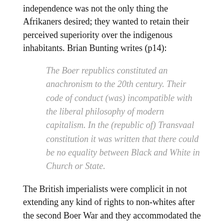independence was not the only thing the Afrikaners desired; they wanted to retain their perceived superiority over the indigenous inhabitants. Brian Bunting writes (p14):
The Boer republics constituted an anachronism to the 20th century. Their code of conduct (was) incompatible with the liberal philosophy of modern capitalism. In the (republic of) Transvaal constitution it was written that there could be no equality between Black and White in Church or State.
The British imperialists were complicit in not extending any kind of rights to non-whites after the second Boer War and they accommodated the color-bar with its pass-book restrictions ensuring that racial integration would not happen. This is what the Afrikaners wanted.